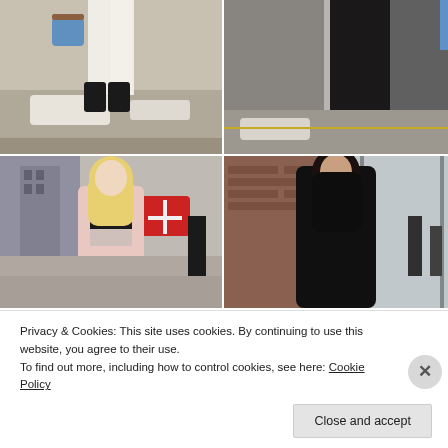[Figure (photo): Two street style fashion photos side by side showing lower body outfits: left person in white pants with black ankle boots carrying a blue bag on snowy pavement; right person in black coat with black boots on snowy pavement.]
[Figure (photo): Two street style fashion photos side by side: left shows a blonde woman in a pink coat over a graphic shirt on a city street; right shows a dark-haired woman in an all-black turtleneck ensemble on a city street.]
Privacy & Cookies: This site uses cookies. By continuing to use this website, you agree to their use.
To find out more, including how to control cookies, see here: Cookie Policy